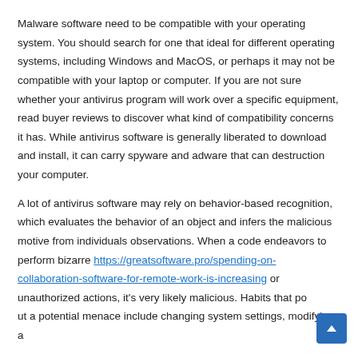Malware software need to be compatible with your operating system. You should search for one that ideal for different operating systems, including Windows and MacOS, or perhaps it may not be compatible with your laptop or computer. If you are not sure whether your antivirus program will work over a specific equipment, read buyer reviews to discover what kind of compatibility concerns it has. While antivirus software is generally liberated to download and install, it can carry spyware and adware that can destruction your computer.
A lot of antivirus software may rely on behavior-based recognition, which evaluates the behavior of an object and infers the malicious motive from individuals observations. When a code endeavors to perform bizarre https://greatsoftware.pro/spending-on-collaboration-software-for-remote-work-is-increasing or unauthorized actions, it's very likely malicious. Habits that point out a potential menace include changing system settings, modifying a